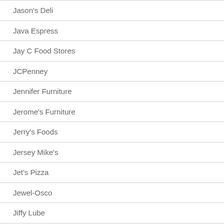Jason's Deli
Java Espress
Jay C Food Stores
JCPenney
Jennifer Furniture
Jerome's Furniture
Jerry's Foods
Jersey Mike's
Jet's Pizza
Jewel-Osco
Jiffy Lube
Jimmy John's
JOANN Fabric & Craft
Joe's Crab Shack